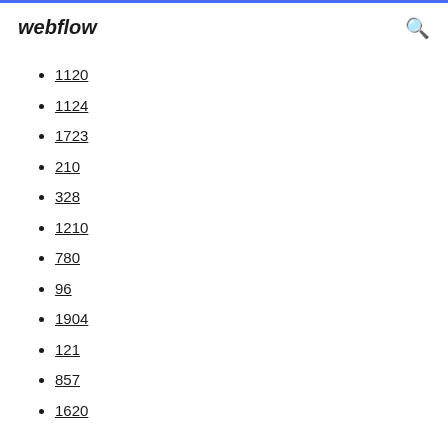webflow
1120
1124
1723
210
328
1210
780
96
1904
121
857
1620